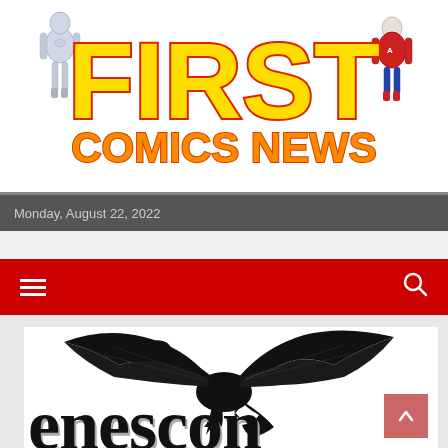[Figure (logo): First Comics News website header banner with large yellow/orange 'FIRST' text with red outline, 'COMICS NEWS' in orange/yellow, two comic book superhero characters flanking the text on white background]
Monday, August 22, 2022
[Figure (illustration): Black silhouette of a flying dragon breathing red and orange flames, with large bat-like wings spread wide, serpentine body and tail. Below the dragon is partially visible large bold serif text reading 'e  e  s  c  o' (partially cut off publication name)]